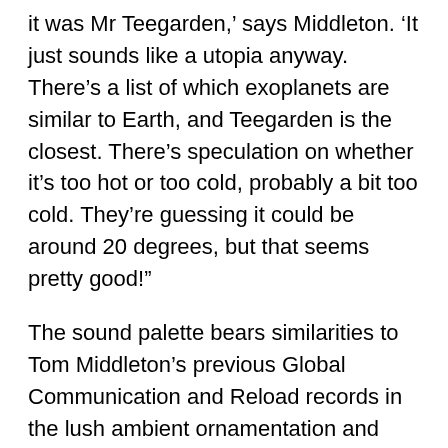it was Mr Teegarden,' says Middleton. 'It just sounds like a utopia anyway. There's a list of which exoplanets are similar to Earth, and Teegarden is the closest. There's speculation on whether it's too hot or too cold, probably a bit too cold. They're guessing it could be around 20 degrees, but that seems pretty good!'
The sound palette bears similarities to Tom Middleton's previous Global Communication and Reload records in the lush ambient ornamentation and detailed synth-scapes, but on a grander, more cosmic canvas. The new artist name GCOM stands for Galactic Communication, which Middleton evokes with a soundtrack artist's sense of scale. The opener 'Noctis Ultimus (Epic Mix)' feels like being on the flight deck of a gigantic craft, looking down on